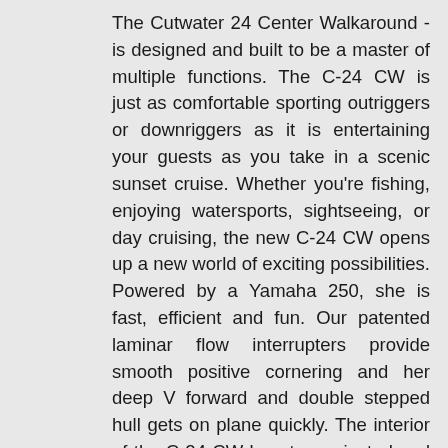The Cutwater 24 Center Walkaround - is designed and built to be a master of multiple functions. The C-24 CW is just as comfortable sporting outriggers or downriggers as it is entertaining your guests as you take in a scenic sunset cruise. Whether you're fishing, enjoying watersports, sightseeing, or day cruising, the new C-24 CW opens up a new world of exciting possibilities. Powered by a Yamaha 250, she is fast, efficient and fun. Our patented laminar flow interrupters provide smooth positive cornering and her deep V forward and double stepped hull gets on plane quickly. The interior of the C-24 CW boasts a private head with marine toilet and has 6' 2" headroom! Standard features include Garmin GPSMAP942xs chartplotter with GPS and depth transducer, aft insulated beverage cooler, rod holders, locking rod storage, fishbox, large heavy duty cooler with seat, retractable ski pylon, pop up stainless cleats, and abundant drink holders throughout. Options include bow thruster